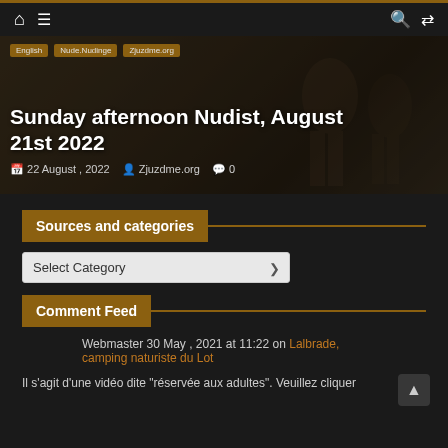Navigation bar with home, menu, search, and shuffle icons
[Figure (screenshot): Hero image of nudist article with dark/brown tones, showing tags: English, Nude.Nudinge, Zjuzdme.org]
Sunday afternoon Nudist, August 21st 2022
22 August , 2022   Zjuzdme.org   0
Sources and categories
Select Category
Comment Feed
Webmaster 30 May , 2021 at 11:22 on Lalbrade, camping naturiste du Lot
Il s'agit d'une vidéo dite "réservée aux adultes". Veuillez cliquer